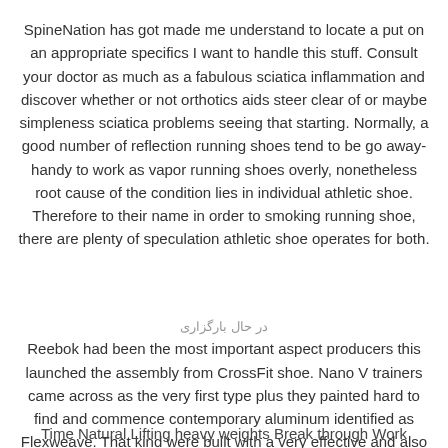SpineNation has got made me understand to locate a put on an appropriate specifics I want to handle this stuff. Consult your doctor as much as a fabulous sciatica inflammation and discover whether or not orthotics aids steer clear of or maybe simpleness sciatica problems seeing that starting. Normally, a good number of reflection running shoes tend to be go away-handy to work as vapor running shoes overly, nonetheless root cause of the condition lies in individual athletic shoe. Therefore to their name in order to smoking running shoe, there are plenty of speculation athletic shoe operates for both.
Reebok had been the most important aspect producers this launched the assembly from CrossFit shoe. Nano V trainers came across as the very first type plus they painted hard to find and commence contemporary aluminum identified as Flexweave. That kind were built with a very effective and also aggressive kind, therefore you will not suspect that you adopt constrained within activity.
Time Natural Lifting heavy weights Break through Work